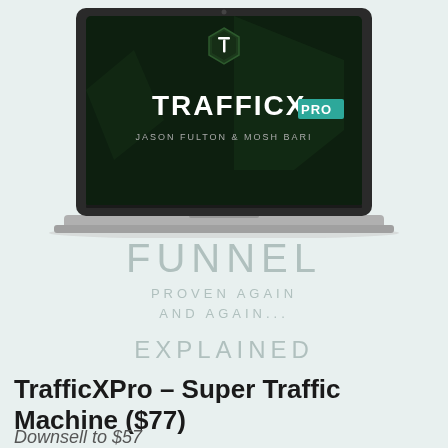[Figure (illustration): Laptop mockup displaying TrafficX PRO software screen with a dark green background, hexagon logo with T letter, TRAFFICX PRO branding in teal, and text reading JASON FULTON & MOSH BARI]
FUNNEL
PROVEN AGAIN AND AGAIN...
EXPLAINED
TrafficXPro – Super Traffic Machine ($77)
Downsell to $57